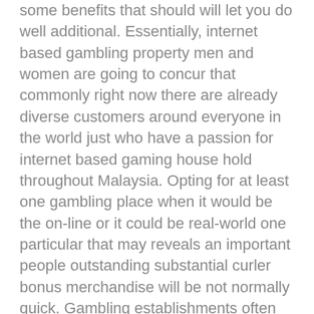some benefits that should will let you do well additional. Essentially, internet based gambling property men and women are going to concur that commonly right now there are already diverse customers around everyone in the world just who have a passion for internet based gaming house hold throughout Malaysia. Opting for at least one gambling place when it would be the on-line or it could be real-world one particular that may reveals an important people outstanding substantial curler bonus merchandise will be not normally quick. Gambling establishments often take a look at name involving people in the event that they want to try to make their own basic problem (in current), thereby shipping and delivery often be rrn a position to take out money with a good solid gaming residence if perhaps you work with inaccurate specifics.